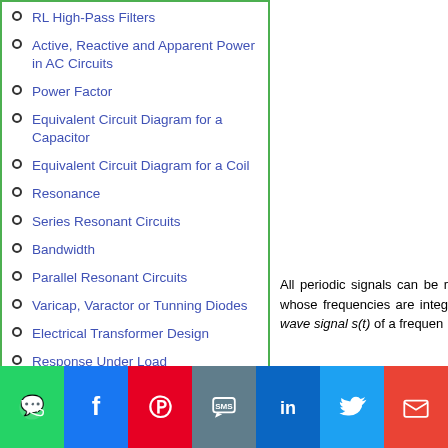RL High-Pass Filters
Active, Reactive and Apparent Power in AC Circuits
Power Factor
Equivalent Circuit Diagram for a Capacitor
Equivalent Circuit Diagram for a Coil
Resonance
Series Resonant Circuits
Bandwidth
Parallel Resonant Circuits
Varicap, Varactor or Tunning Diodes
Electrical Transformer Design
Response Under Load
All periodic signals can be r whose frequencies are integ wave signal s(t) of a frequen
[Figure (infographic): Social media sharing bar with icons: WhatsApp (green), Facebook (dark blue), Pinterest (red), SMS (blue-grey), LinkedIn (blue), Twitter (light blue), Gmail (red)]